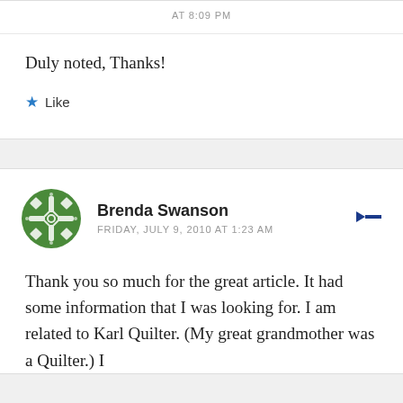AT 8:09 PM
Duly noted, Thanks!
Like
Brenda Swanson
FRIDAY, JULY 9, 2010 AT 1:23 AM
Thank you so much for the great article. It had some information that I was looking for. I am related to Karl Quilter. (My great grandmother was a Quilter.) I